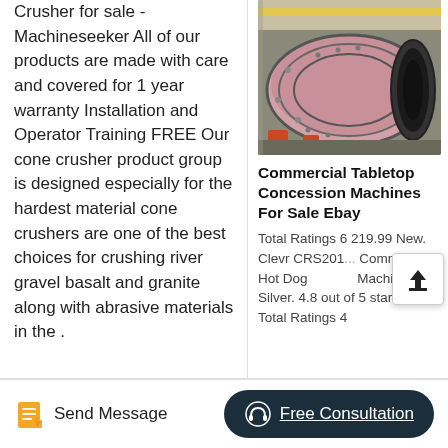Crusher for sale - Machineseeker All of our products are made with care and covered for 1 year warranty Installation and Operator Training FREE Our cone crusher product group is designed especially for the hardest material cone crushers are one of the best choices for crushing river gravel basalt and granite along with abrasive materials in the .
[Figure (photo): Industrial large cylindrical drum/ball mill machine in a factory setting with pink/gray coloring and crane overhead]
Commercial Tabletop Concession Machines For Sale Ebay
Total Ratings 6 219.99 New. Clevr CRS201... Commercial Hot Dog Machine - Silver. 4.8 out of 5 stars. 4 Total Ratings 4
Send Message
Free Consultation